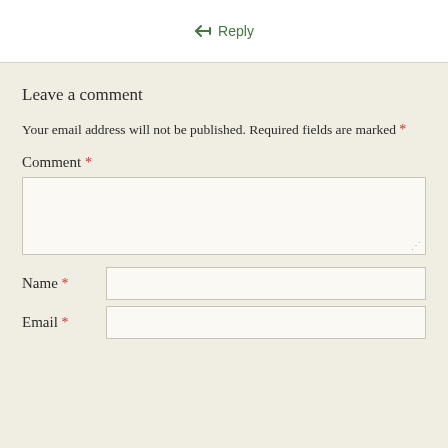↪ Reply
Leave a comment
Your email address will not be published. Required fields are marked *
Comment *
Name *
Email *